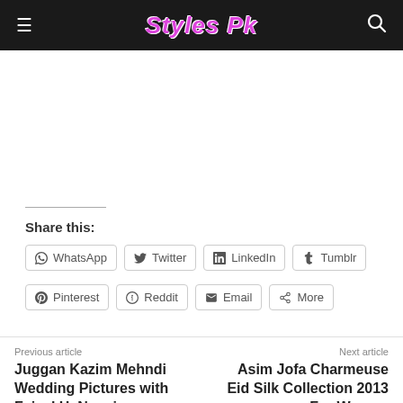Styles Pk
Share this:
WhatsApp  Twitter  LinkedIn  Tumblr  Pinterest  Reddit  Email  More
Previous article
Juggan Kazim Mehndi Wedding Pictures with Feisal H. Naqvi
Next article
Asim Jofa Charmeuse Eid Silk Collection 2013 For Women